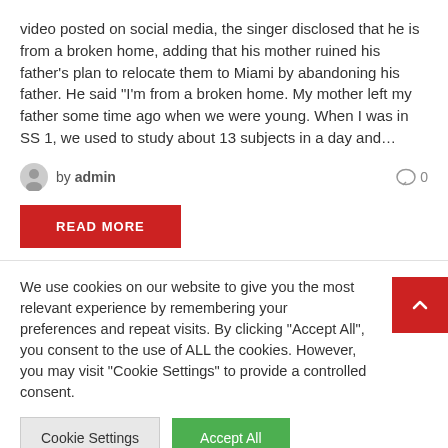video posted on social media, the singer disclosed that he is from a broken home, adding that his mother ruined his father's plan to relocate them to Miami by abandoning his father. He said "I'm from a broken home. My mother left my father some time ago when we were young. When I was in SS 1, we used to study about 13 subjects in a day and…
by admin  0
READ MORE
We use cookies on our website to give you the most relevant experience by remembering your preferences and repeat visits. By clicking "Accept All", you consent to the use of ALL the cookies. However, you may visit "Cookie Settings" to provide a controlled consent.
Cookie Settings  Accept All